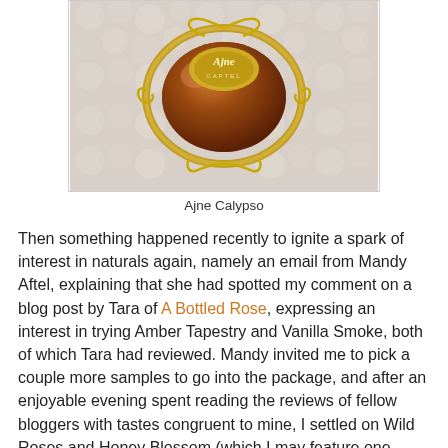[Figure (photo): Close-up photo of a perfume bottle labeled Ajne, with ornate gold metallic filigree decoration, amber/brown liquid visible inside, on a white fabric background]
Ajne Calypso
Then something happened recently to ignite a spark of interest in naturals again, namely an email from Mandy Aftel, explaining that she had spotted my comment on a blog post by Tara of A Bottled Rose, expressing an interest in trying Amber Tapestry and Vanilla Smoke, both of which Tara had reviewed. Mandy invited me to pick a couple more samples to go into the package, and after an enjoyable evening spent reading the reviews of fellow bloggers with tastes congruent to mine, I settled on Wild Roses and Honey Blossom (which I may feature one day).
But before getting to my impressions of the scents themselves, I must devote a paragraph or two to the packaging, which greatly contributes to the ideationall